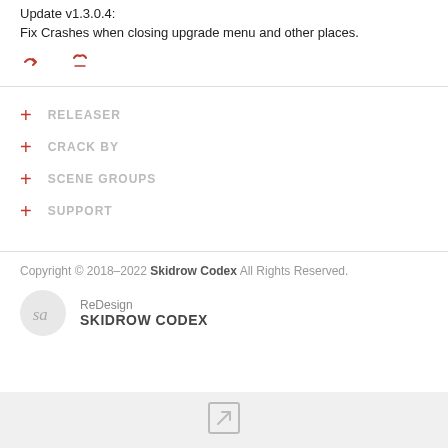Update v1.3.0.4:
Fix Crashes when closing upgrade menu and other places.
[Figure (other): Two small red icons: a forward arrow and an X/close symbol]
+ RELEASER
+ CRACK BY
+ SCENE GROUPS
+ SUPPORT
Copyright © 2018–2022 Skidrow Codex All Rights Reserved.
[Figure (logo): Circular logo with 'sa' letters inside]
ReDesign SKIDROW CODEX
[Figure (other): External link icon in a square box at the bottom bar]